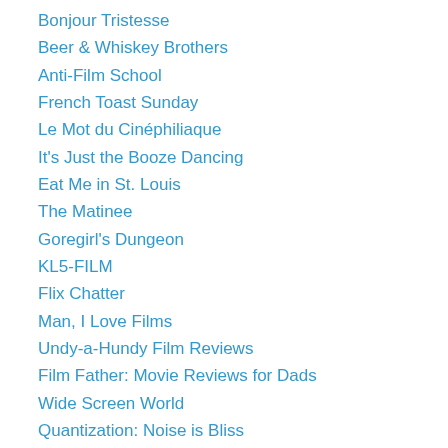Bonjour Tristesse
Beer & Whiskey Brothers
Anti-Film School
French Toast Sunday
Le Mot du Cinéphiliaque
It's Just the Booze Dancing
Eat Me in St. Louis
The Matinee
Goregirl's Dungeon
KL5-FILM
Flix Chatter
Man, I Love Films
Undy-a-Hundy Film Reviews
Film Father: Movie Reviews for Dads
Wide Screen World
Quantization: Noise is Bliss
Film Rebellion
Impassioned Cinema
Public Transportation Snob
The Warning Sign